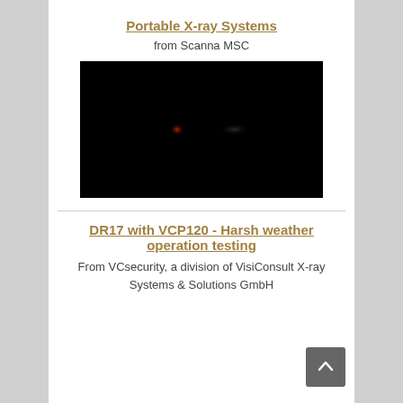Portable X-ray Systems
from Scanna MSC
[Figure (screenshot): Black video thumbnail with a faint reddish glow/orb visible in the center-left area, suggesting a video player interface for X-ray system demonstration.]
DR17 with VCP120 - Harsh weather operation testing
From VCsecurity, a division of VisiConsult X-ray Systems & Solutions GmbH